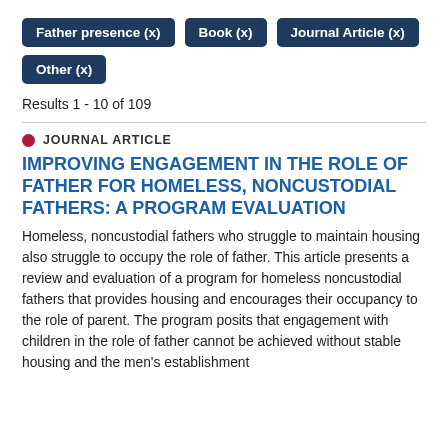Father presence (x)
Book (x)
Journal Article (x)
Other (x)
Results 1 - 10 of 109
JOURNAL ARTICLE
IMPROVING ENGAGEMENT IN THE ROLE OF FATHER FOR HOMELESS, NONCUSTODIAL FATHERS: A PROGRAM EVALUATION
Homeless, noncustodial fathers who struggle to maintain housing also struggle to occupy the role of father. This article presents a review and evaluation of a program for homeless noncustodial fathers that provides housing and encourages their occupancy to the role of parent. The program posits that engagement with children in the role of father cannot be achieved without stable housing and the men's establishment